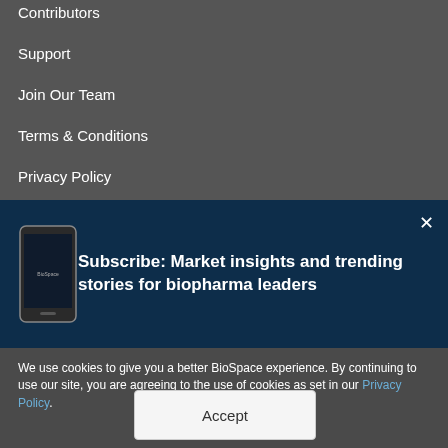Contributors
Support
Join Our Team
Terms & Conditions
Privacy Policy
[Figure (screenshot): Subscribe banner with phone image and text: Subscribe: Market insights and trending stories for biopharma leaders]
We use cookies to give you a better BioSpace experience. By continuing to use our site, you are agreeing to the use of cookies as set in our Privacy Policy.
Accept